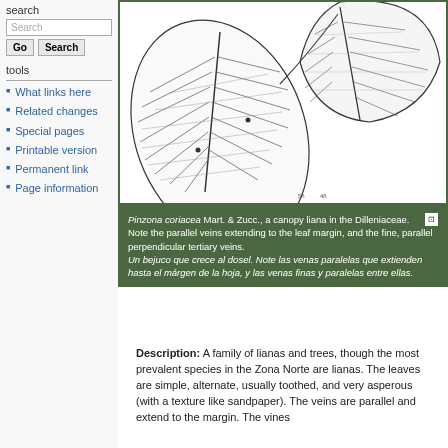search
Search
tools
What links here
Related changes
Special pages
Printable version
Permanent link
Page information
[Figure (illustration): Botanical illustration of Pinzona coriacea leaves showing parallel veins extending to leaf margin and fine parallel perpendicular tertiary veins]
Pinzona coriacea Mart. & Zucc., a canopy liana in the Dilleniaceae. Note the parallel veins extending to the leaf margin, and the fine, parallel perpendicular tertiary veins. Un bejuco que crece al dosel. Note las venas paralelas que extienden hasta el márgen de la hoja, y las venas finas y paralelas entre ellas.
Description: A family of lianas and trees, though the most prevalent species in the Zona Norte are lianas. The leaves are simple, alternate, usually toothed, and very asperous (with a texture like sandpaper). The veins are parallel and extend to the margin. The vines